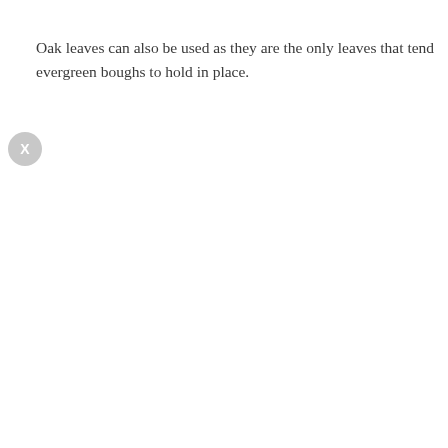Oak leaves can also be used as they are the only leaves that tend evergreen boughs to hold in place.